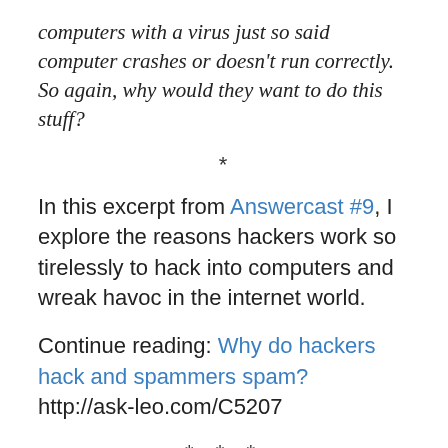computers with a virus just so said computer crashes or doesn't run correctly. So again, why would they want to do this stuff?
*
In this excerpt from Answercast #9, I explore the reasons hackers work so tirelessly to hack into computers and wreak havoc in the internet world.
Continue reading: Why do hackers hack and spammers spam? http://ask-leo.com/C5207
* * *